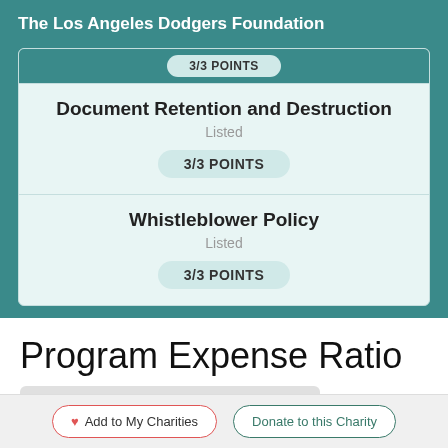The Los Angeles Dodgers Foundation
3/3 POINTS
Document Retention and Destruction
Listed
3/3 POINTS
Whistleblower Policy
Listed
3/3 POINTS
Program Expense Ratio
78.94%
Add to My Charities   Donate to this Charity